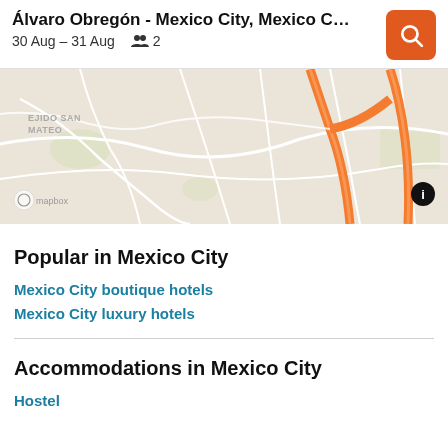Álvaro Obregón - Mexico City, Mexico City F... | 30 Aug – 31 Aug  👥 2
[Figure (map): Street map showing Álvaro Obregón area of Mexico City with orange highways/roads, white streets, and green park areas. EJIDO SAN MATEO label visible top left. Mapbox attribution bottom left. Info icon bottom right.]
Popular in Mexico City
Mexico City boutique hotels
Mexico City luxury hotels
Accommodations in Mexico City
Hostel